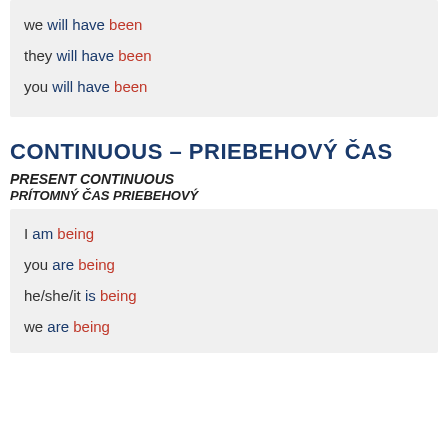we will have been
they will have been
you will have been
CONTINUOUS – PRIEBEHOVÝ ČAS
PRESENT CONTINUOUS
PRÍTOMNÝ ČAS PRIEBEHOVÝ
I am being
you are being
he/she/it is being
we are being